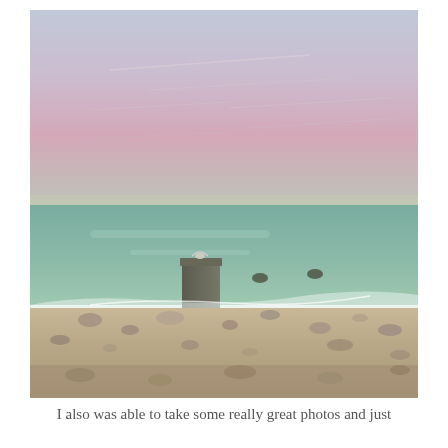[Figure (photo): A long-exposure photograph of a coastal beach scene at dusk or twilight. A pink and purple sky with thin clouds fills the upper portion. A calm, blurred teal-green sea occupies the middle. A stone or concrete pillar stands in the shallow water near the shore with a seagull perched on top. Rocky and pebbly beach in the foreground. Several dark bird-like shapes visible in the water in the background.]
I also was able to take some really great photos and just